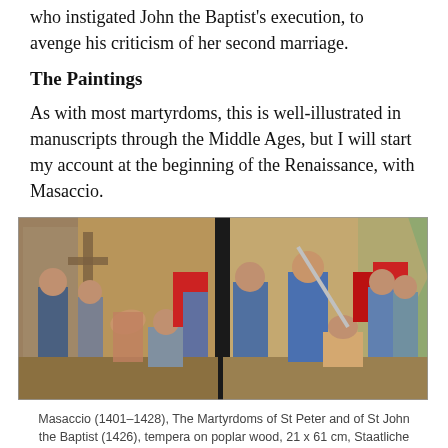who instigated John the Baptist's execution, to avenge his criticism of her second marriage.
The Paintings
As with most martyrdoms, this is well-illustrated in manuscripts through the Middle Ages, but I will start my account at the beginning of the Renaissance, with Masaccio.
[Figure (photo): Masaccio painting showing The Martyrdoms of St Peter and of St John the Baptist (1426), tempera on poplar wood, depicting scenes of martyrdom with multiple figures in Renaissance style.]
Masaccio (1401–1428), The Martyrdoms of St Peter and of St John the Baptist (1426), tempera on poplar wood, 21 x 61 cm, Staatliche Museen, Berlin. Wikimedia Commons.
Masaccio: The Martyrdoms of St Peter and of St John the